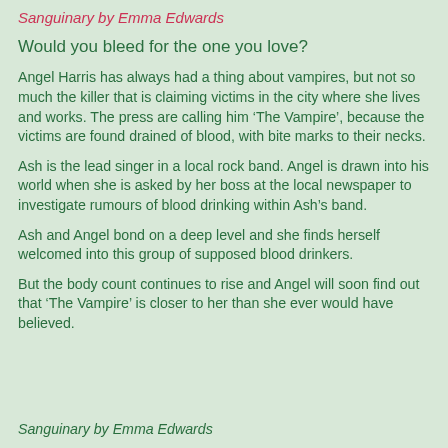Sanguinary by Emma Edwards
Would you bleed for the one you love?
Angel Harris has always had a thing about vampires, but not so much the killer that is claiming victims in the city where she lives and works. The press are calling him ‘The Vampire’, because the victims are found drained of blood, with bite marks to their necks.
Ash is the lead singer in a local rock band. Angel is drawn into his world when she is asked by her boss at the local newspaper to investigate rumours of blood drinking within Ash’s band.
Ash and Angel bond on a deep level and she finds herself welcomed into this group of supposed blood drinkers.
But the body count continues to rise and Angel will soon find out that ‘The Vampire’ is closer to her than she ever would have believed.
Sanguinary by Emma Edwards